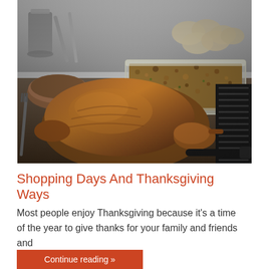[Figure (photo): Thanksgiving dinner spread showing a roasted turkey, stuffing in a glass baking dish, bread rolls, and serving utensils on a table]
Shopping Days And Thanksgiving Ways
Most people enjoy Thanksgiving because it's a time of the year to give thanks for your family and friends and
Continue reading »